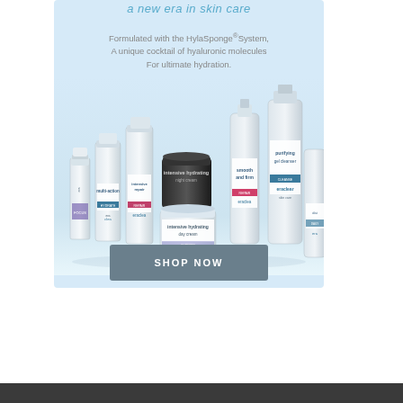a new era in skin care
Formulated with the HylaSponge®System, A unique cocktail of hyaluronic molecules For ultimate hydration.
[Figure (photo): Multiple skincare product bottles and tubes from eraclea brand arranged together on a light blue background, including pure hydration, multi-action, intensive repair, intensive hydrating night cream, smooth and firm, purifying gel cleanser, and daily products.]
SHOP NOW